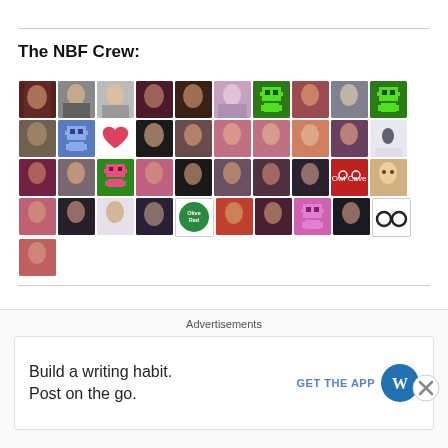The NBF Crew:
[Figure (photo): Grid of approximately 41 user avatar profile pictures arranged in 4 rows, showing a mix of personal photos, pixel art robot icons, illustrations, and logo avatars for members of the NBF Crew]
Our Google+ Page!
[Figure (screenshot): Advertisement overlay at bottom of page showing 'Advertisements' label with a WordPress ad: 'Build a writing habit. Post on the go.' with 'GET THE APP' call to action and WordPress logo, plus a close (X) button]